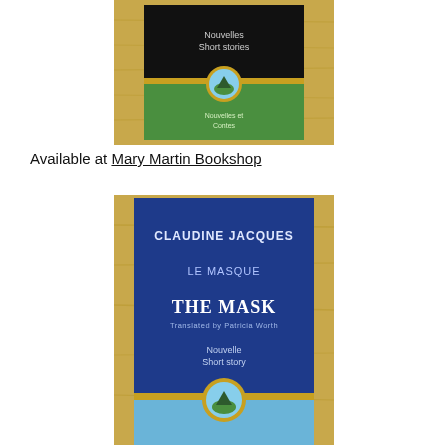[Figure (photo): Photo of a book with a dark cover showing 'Nouvelles / Short stories' text and a circular mountain/nature logo emblem, placed on a wooden surface]
Available at Mary Martin Bookshop
[Figure (photo): Photo of a blue book cover 'Le Masque / The Mask' by Claudine Jacques, translated by Patricia Worth. Subtitle: Nouvelle / Short story. Has a circular mountain logo at bottom, on a wooden surface.]